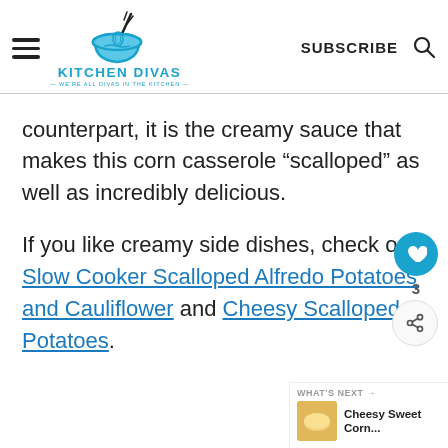Kitchen Divas — We're all divas in the kitchen — SUBSCRIBE [search icon]
counterpart, it is the creamy sauce that makes this corn casserole “scalloped” as well as incredibly delicious.
If you like creamy side dishes, check out Slow Cooker Scalloped Alfredo Potatoes and Cauliflower and Cheesy Scalloped Potatoes.